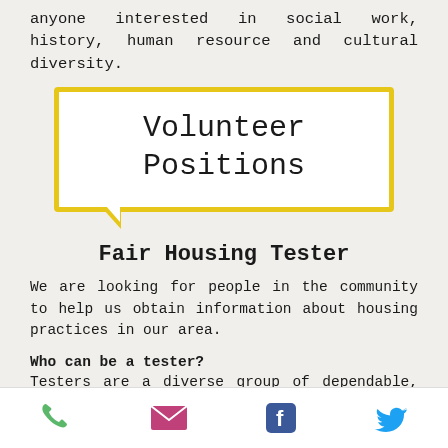anyone interested in social work, history, human resource and cultural diversity.
Volunteer Positions
Fair Housing Tester
We are looking for people in the community to help us obtain information about housing practices in our area.
Who can be a tester? Testers are a diverse group of dependable, conscientious people of various racial and ethnic groups, men and women, over a broad range of ages with
phone | email | facebook | twitter